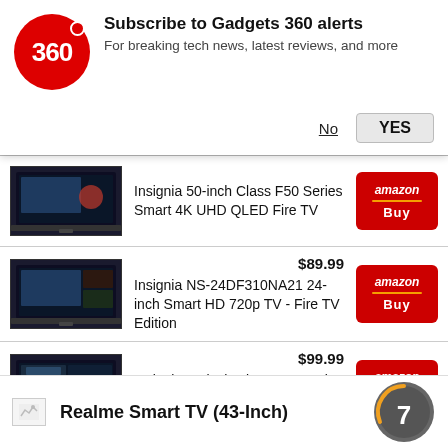[Figure (other): Gadgets 360 notification banner with logo, title, subtitle, No and YES buttons]
Insignia 50-inch Class F50 Series Smart 4K UHD QLED Fire TV
[Figure (other): Amazon Buy button (red)]
$89.99
Insignia NS-24DF310NA21 24-inch Smart HD 720p TV - Fire TV Edition
[Figure (other): Amazon Buy button (red)]
$99.99
Insignia 32-inch Class F20 Series Smart HD 720p Fire TV (NS-32F201NA22,...
[Figure (other): Amazon Buy button (red)]
Realme Smart TV (43-Inch)
[Figure (other): Score circle showing 7]